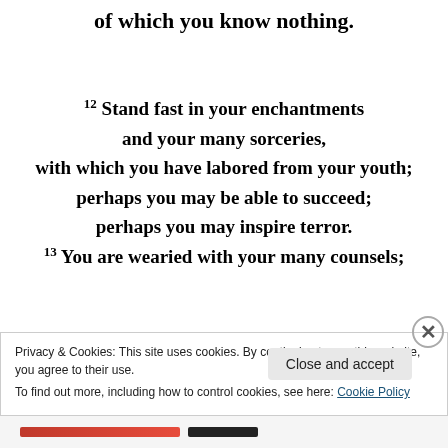of which you know nothing.
12 Stand fast in your enchantments and your many sorceries, with which you have labored from your youth; perhaps you may be able to succeed; perhaps you may inspire terror. 13 You are wearied with your many counsels;
Privacy & Cookies: This site uses cookies. By continuing to use this website, you agree to their use. To find out more, including how to control cookies, see here: Cookie Policy
Close and accept